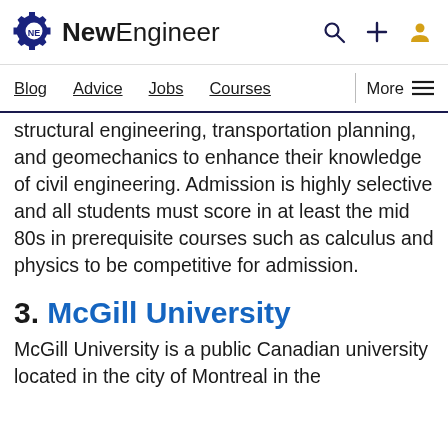NewEngineer
Blog Advice Jobs Courses More
structural engineering, transportation planning, and geomechanics to enhance their knowledge of civil engineering. Admission is highly selective and all students must score in at least the mid 80s in prerequisite courses such as calculus and physics to be competitive for admission.
3. McGill University
McGill University is a public Canadian university located in the city of Montreal in the